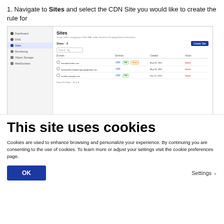1. Navigate to Sites and select the CDN Site you would like to create the rule for
[Figure (screenshot): Screenshot of a web dashboard showing the Sites page with a list of CDN sites including example.foobar.com, stackpathmovingstorage.googleapis.com, and another site. Each has CDN, WAF, and Script badges. A Create Site button is visible in the upper right.]
2. Navigate to your EdgeRules tab
[Figure (screenshot): Partial screenshot showing a dark top navigation bar and below it a white area with a Dashboard label and icon.]
This site uses cookies
Cookies are used to enhance browsing and personalize your experience. By continuing you are consenting to the use of cookies. To learn more or adjust your settings visit the cookie preferences page.
OK
Settings